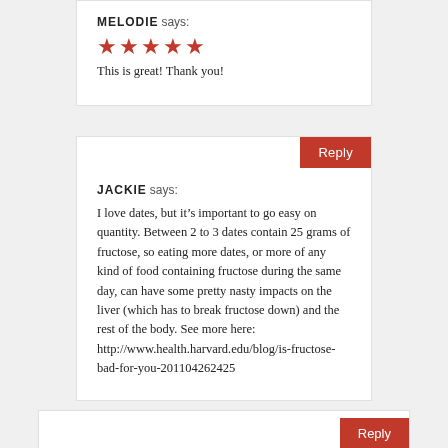MELODIE says:
[Figure (illustration): Five red star rating icons]
This is great! Thank you!
JACKIE says:
I love dates, but it’s important to go easy on quantity. Between 2 to 3 dates contain 25 grams of fructose, so eating more dates, or more of any kind of food containing fructose during the same day, can have some pretty nasty impacts on the liver (which has to break fructose down) and the rest of the body. See more here: http://www.health.harvard.edu/blog/is-fructose-bad-for-you-201104262425